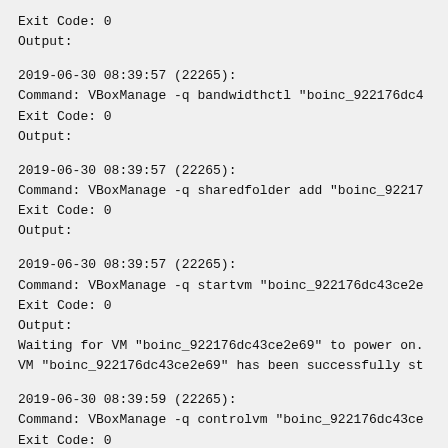Exit Code: 0
Output:
2019-06-30 08:39:57 (22265):
Command: VBoxManage -q bandwidthctl "boinc_922176dc4
Exit Code: 0
Output:
2019-06-30 08:39:57 (22265):
Command: VBoxManage -q sharedfolder add "boinc_92217
Exit Code: 0
Output:
2019-06-30 08:39:57 (22265):
Command: VBoxManage -q startvm "boinc_922176dc43ce2e
Exit Code: 0
Output:
Waiting for VM "boinc_922176dc43ce2e69" to power on.
VM "boinc_922176dc43ce2e69" has been successfully st
2019-06-30 08:39:59 (22265):
Command: VBoxManage -q controlvm "boinc_922176dc43ce
Exit Code: 0
Output: